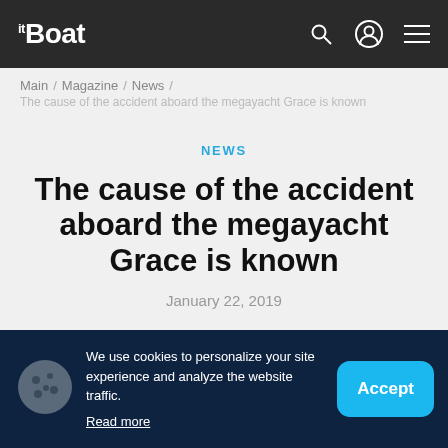itBoat
Main / Magazine / News / The cause of the accident aboard the megayacht Grace is known
NEWS
The cause of the accident aboard the megayacht Grace is known
January 22, 2019
We use cookies to personalize your site experience and analyze the website traffic. Read more
Accept